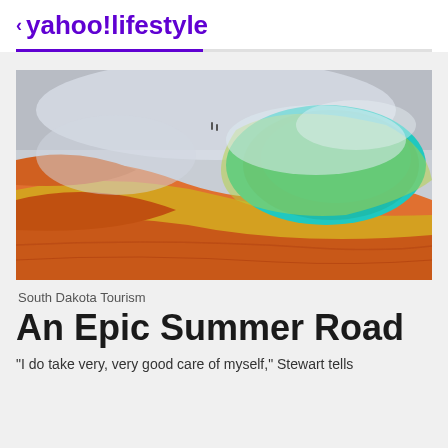< yahoo!lifestyle
[Figure (photo): Aerial view of Grand Prismatic Spring at Yellowstone with vivid orange, yellow, and teal colors, steam rising, two tiny figures visible in the background]
South Dakota Tourism
An Epic Summer Road
"I do take very, very good care of myself," Stewart tells